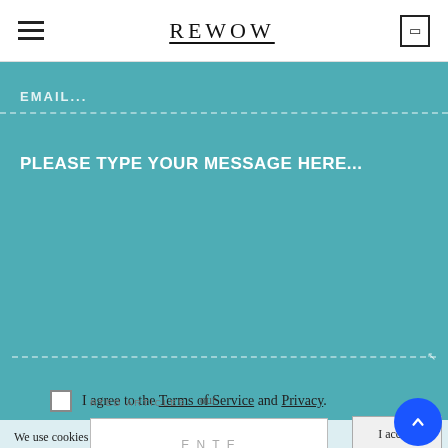REWOW
EMAIL...
PLEASE TYPE YOUR MESSAGE HERE...
I agree to the Terms of Service and Privacy.
We use cookies to track your activities. We take your privacy very seriously. Please see our privacy policy for details and any questions.
I accept